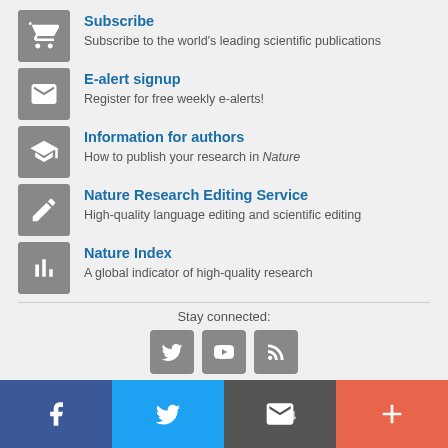Subscribe — Subscribe to the world's leading scientific publications
E-alert signup — Register for free weekly e-alerts!
Information for authors — How to publish your research in Nature
Nature Research Editing Service — High-quality language editing and scientific editing
Nature Index — A global indicator of high-quality research
Stay connected:
[Figure (infographic): Social media icons row: Twitter bird, YouTube logo, RSS feed icon, and bottom bar with Facebook, Twitter, email/share, plus icons]